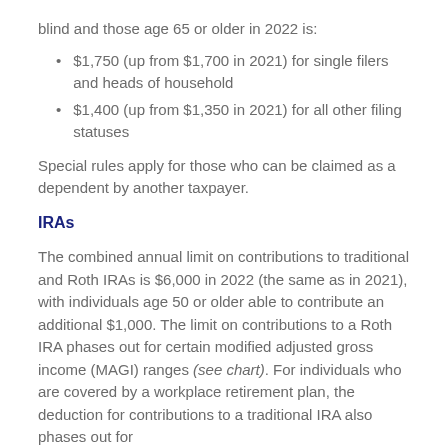blind and those age 65 or older in 2022 is:
$1,750 (up from $1,700 in 2021) for single filers and heads of household
$1,400 (up from $1,350 in 2021) for all other filing statuses
Special rules apply for those who can be claimed as a dependent by another taxpayer.
IRAs
The combined annual limit on contributions to traditional and Roth IRAs is $6,000 in 2022 (the same as in 2021), with individuals age 50 or older able to contribute an additional $1,000. The limit on contributions to a Roth IRA phases out for certain modified adjusted gross income (MAGI) ranges (see chart). For individuals who are covered by a workplace retirement plan, the deduction for contributions to a traditional IRA also phases out for